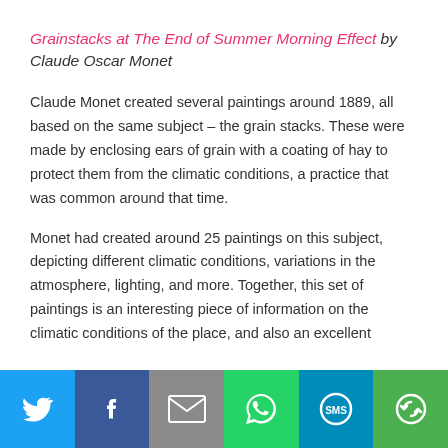Grainstacks at The End of Summer Morning Effect by Claude Oscar Monet
Claude Monet created several paintings around 1889, all based on the same subject – the grain stacks. These were made by enclosing ears of grain with a coating of hay to protect them from the climatic conditions, a practice that was common around that time.
Monet had created around 25 paintings on this subject, depicting different climatic conditions, variations in the atmosphere, lighting, and more. Together, this set of paintings is an interesting piece of information on the climatic conditions of the place, and also an excellent
[Figure (other): Social sharing bar with buttons: Twitter (blue bird icon), Facebook (dark blue f icon), Email (grey envelope icon), WhatsApp (green phone icon), SMS (blue SMS icon), More (green circular arrows icon)]